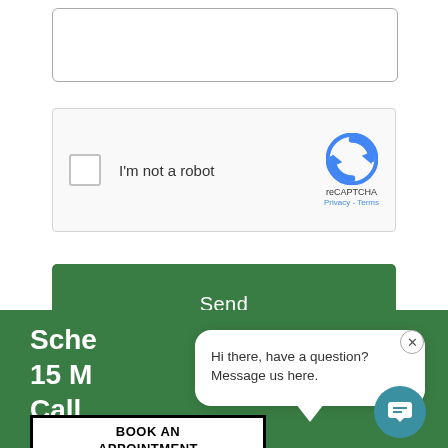[Figure (screenshot): Text area input field (empty) at top of contact form]
[Figure (screenshot): reCAPTCHA widget with checkbox and 'I'm not a robot' label, reCAPTCHA logo, Privacy and Terms links]
Send
Schedule a Free
15 Minute
Call
BOOK AN APPOINTMENT
Hi there, have a question? Message us here.